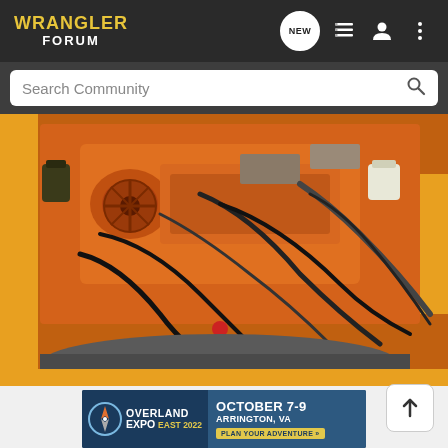WRANGLER FORUM
Search Community
[Figure (photo): Under-hood engine bay photo showing an orange painted engine with hoses, wires, and mechanical components in an orange Jeep.]
[Figure (infographic): Overland Expo East 2022 advertisement banner. October 7-9, Arrington, VA. Plan Your Adventure button.]